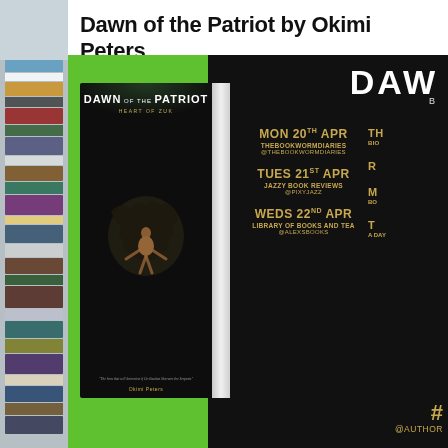Dawn of the Patriot by Okimi Peters
[Figure (illustration): Book tour promotional banner for 'Dawn of the Patriot' by Okimi Peters. Green background with book cover on left showing figure silhouette, and black panel on right listing blog tour dates: MON 20TH APR - THEBOOKWORMDIARIES @THEBOOKWORMDIARIES; TUES 21ST APR - JAZZY BOOK REVIEWS @PIXYJAZZ; WEDS 22ND APR - LIBRARY OF BOOKS AND TEA @ALEXSBOOKS. Right side partially cut off. Bottom shows hashtag and @AUTHOR handle. Background shows stacked books on far left.]